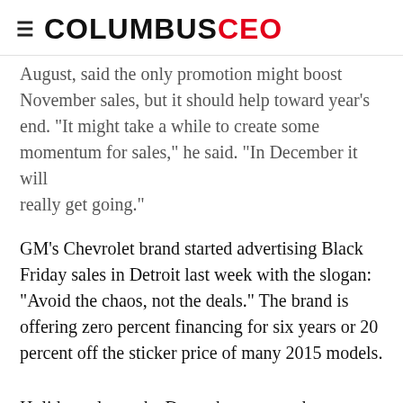≡ COLUMBUSCEO
August, said the only promotion might boost November sales, but it should help toward year's end. "It might take a while to create some momentum for sales," he said. "In December it will really get going."
GM's Chevrolet brand started advertising Black Friday sales in Detroit last week with the slogan: "Avoid the chaos, not the deals." The brand is offering zero percent financing for six years or 20 percent off the sticker price of many 2015 models.
Holiday sales make December among the top
are some things to consider if you're in the